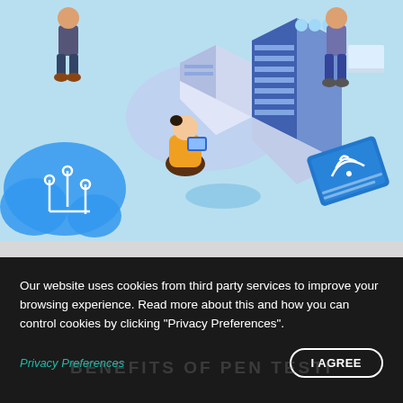[Figure (illustration): Isometric illustration of cloud computing / IT infrastructure scene: figures working around server racks and cloud icon on light blue background]
Our website uses cookies from third party services to improve your browsing experience. Read more about this and how you can control cookies by clicking "Privacy Preferences".
Privacy Preferences
I AGREE